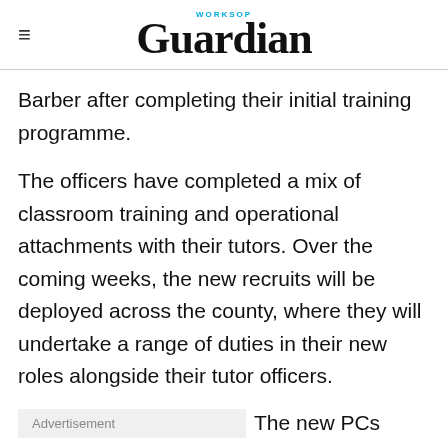WORKSOP Guardian
Barber after completing their initial training programme.
The officers have completed a mix of classroom training and operational attachments with their tutors. Over the coming weeks, the new recruits will be deployed across the county, where they will undertake a range of duties in their new roles alongside their tutor officers.
Advertisement  The new PCs officially passed out at a parade attended by proud family members.